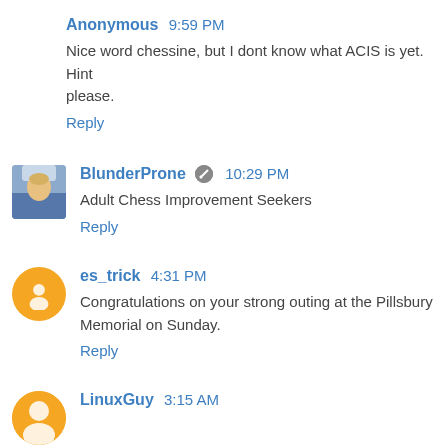Anonymous 9:59 PM
Nice word chessine, but I dont know what ACIS is yet. Hint please.
Reply
BlunderProne 10:29 PM
Adult Chess Improvement Seekers
Reply
es_trick 4:31 PM
Congratulations on your strong outing at the Pillsbury Memorial on Sunday.
Reply
LinuxGuy 3:15 AM